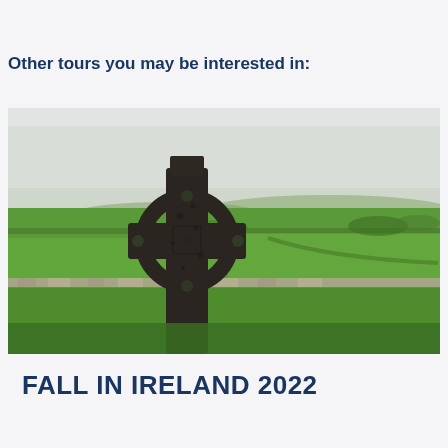Other tours you may be interested in:
[Figure (photo): A stone Celtic cross in the foreground with a panoramic view of green Irish countryside fields and hedgerows under an overcast sky in the background.]
FALL IN IRELAND 2022